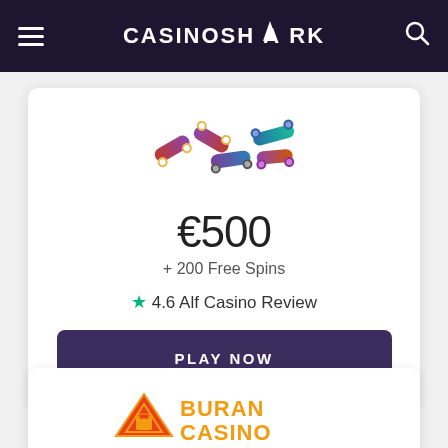CASINOSHARK
[Figure (logo): ALF Casino logo with colorful skateboard-shaped letters spelling ALF]
€500
+ 200 Free Spins
★ 4.6 Alf Casino Review
PLAY NOW
[Figure (logo): Buran Casino logo with orange and yellow stylized text and a triangular emblem]